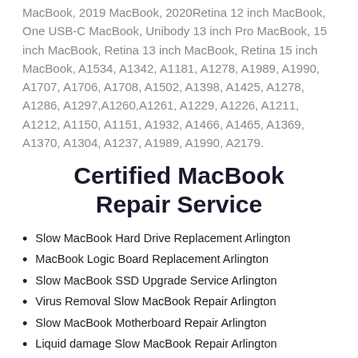MacBook, 2019 MacBook, 2020Retina 12 inch MacBook, One USB-C MacBook, Unibody 13 inch Pro MacBook, 15 inch MacBook, Retina 13 inch MacBook, Retina 15 inch MacBook, A1534, A1342, A1181, A1278, A1989, A1990, A1707, A1706, A1708, A1502, A1398, A1425, A1278, A1286, A1297,A1260,A1261, A1229, A1226, A1211, A1212, A1150, A1151, A1932, A1466, A1465, A1369, A1370, A1304, A1237, A1989, A1990, A2179.
Certified MacBook Repair Service
Slow MacBook Hard Drive Replacement Arlington
MacBook Logic Board Replacement Arlington
Slow MacBook SSD Upgrade Service Arlington
Virus Removal Slow MacBook Repair Arlington
Slow MacBook Motherboard Repair Arlington
Liquid damage Slow MacBook Repair Arlington